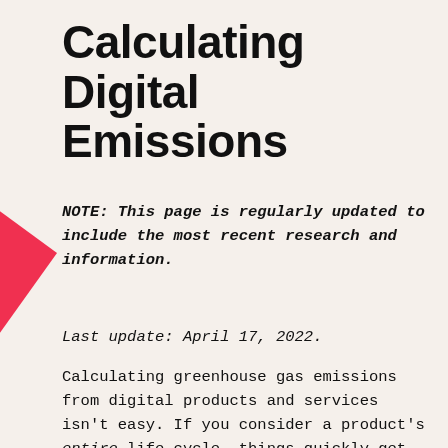Calculating Digital Emissions
NOTE: This page is regularly updated to include the most recent research and information.
Last update: April 17, 2022.
Calculating greenhouse gas emissions from digital products and services isn't easy. If you consider a product's entire life cycle, things quickly get complicated: